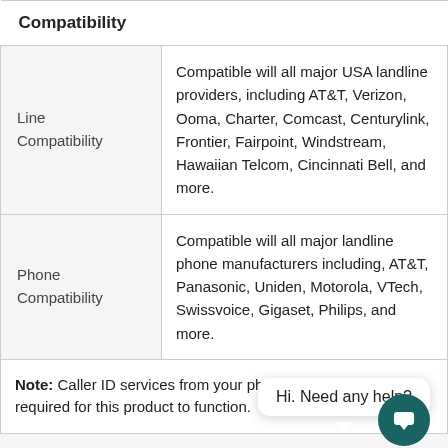|  | Compatibility |
| --- | --- |
| Line Compatibility | Compatible will all major USA landline providers, including AT&T, Verizon, Ooma, Charter, Comcast, Centurylink, Frontier, Fairpoint, Windstream, Hawaiian Telcom, Cincinnati Bell, and more. |
| Phone Compatibility | Compatible will all major landline phone manufacturers including, AT&T, Panasonic, Uniden, Motorola, VTech, Swissvoice, Gigaset, Philips, and more. |
Note: Caller ID services from your phone service provider are required for this product to function.